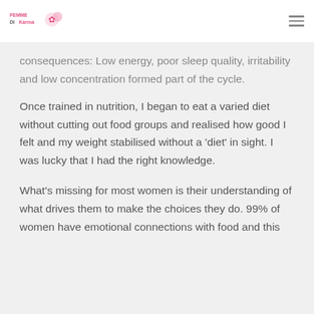[Logo: Femme Di Karma]
consequences: Low energy, poor sleep quality, irritability and low concentration formed part of the cycle.
Once trained in nutrition, I began to eat a varied diet without cutting out food groups and realised how good I felt and my weight stabilised without a 'diet' in sight. I was lucky that I had the right knowledge.
What's missing for most women is their understanding of what drives them to make the choices they do. 99% of women have emotional connections with food and this